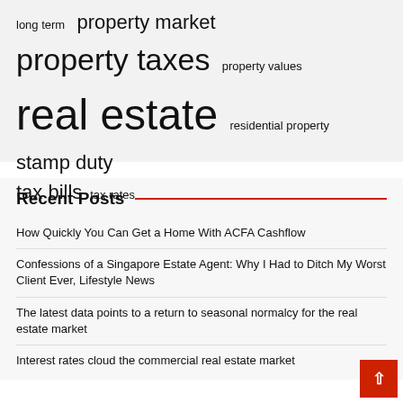long term
property market
property taxes
property values
real estate
residential property
stamp duty
tax bills
tax rates
Recent Posts
How Quickly You Can Get a Home With ACFA Cashflow
Confessions of a Singapore Estate Agent: Why I Had to Ditch My Worst Client Ever, Lifestyle News
The latest data points to a return to seasonal normalcy for the real estate market
Interest rates cloud the commercial real estate market